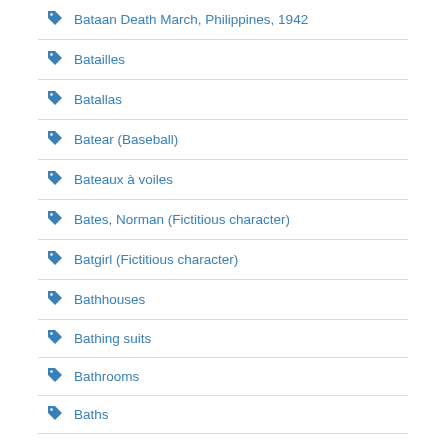Bataan Death March, Philippines, 1942
Batailles
Batallas
Batear (Baseball)
Bateaux à voiles
Bates, Norman (Fictitious character)
Batgirl (Fictitious character)
Bathhouses
Bathing suits
Bathrooms
Baths